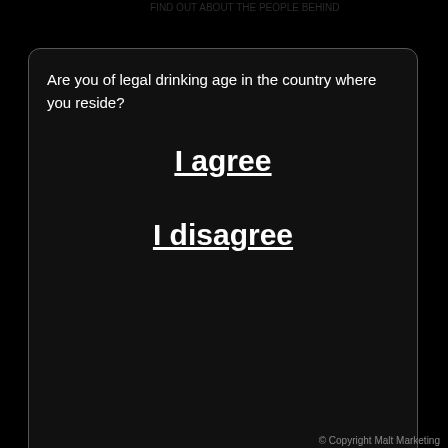Are you of legal drinking age in the country where you reside?
I agree
I disagree
© Copyright Malt Marketing